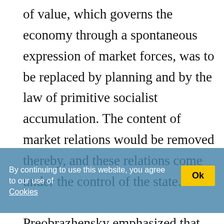of value, which governs the economy through a spontaneous expression of market forces, was to be replaced by planning and by the law of primitive socialist accumulation. The content of market relations would be removed thereby, and these relations come under the control of the state.

Preobrazhensky emphasized that one law must oust the other, and either the capitalist form will erode the state economy or the socialist form will develop at the expense of the non-socialist milieu. The idea that the two types of an economy cannot exist side by side followed from Marx's statement that capital “can be understood only as motion, not as a thing at rest (Marx, 1967b, page 105).” For socialism to succeed